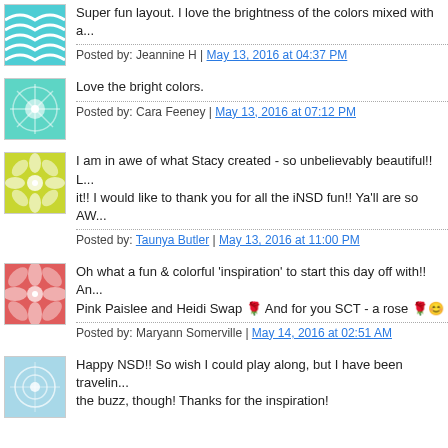Super fun layout. I love the brightness of the colors mixed with a...
Posted by: Jeannine H | May 13, 2016 at 04:37 PM
Love the bright colors.
Posted by: Cara Feeney | May 13, 2016 at 07:12 PM
I am in awe of what Stacy created - so unbelievably beautiful!! L... it!! I would like to thank you for all the iNSD fun!! Ya'll are so AW...
Posted by: Taunya Butler | May 13, 2016 at 11:00 PM
Oh what a fun & colorful 'inspiration' to start this day off with!! An... Pink Paislee and Heidi Swap 🌹 And for you SCT - a rose 🌹😊
Posted by: Maryann Somerville | May 14, 2016 at 02:51 AM
Happy NSD!! So wish I could play along, but I have been travelin... the buzz, though! Thanks for the inspiration!